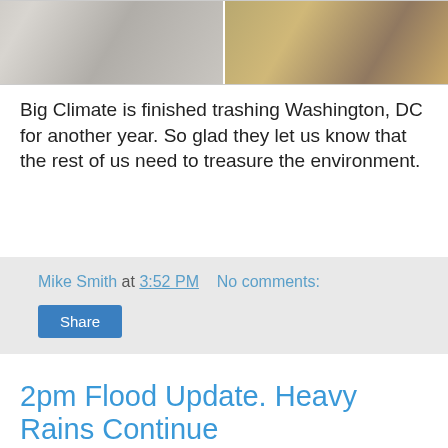[Figure (photo): Two side-by-side photos showing trash/litter on the ground, apparently from a climate march or rally in Washington DC]
Big Climate is finished trashing Washington, DC for another year. So glad they let us know that the rest of us need to treasure the environment.
Mike Smith at 3:52 PM   No comments:
Share
2pm Flood Update. Heavy Rains Continue
[Figure (photo): Radar image showing storm system with heavy rainfall depicted in green, yellow, and red colors over a regional map]